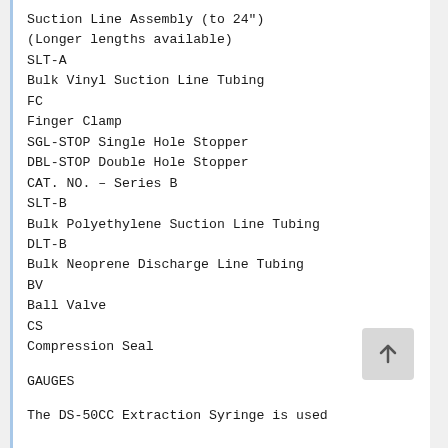Suction Line Assembly (to 24")
(Longer lengths available)
SLT-A
Bulk Vinyl Suction Line Tubing
FC
Finger Clamp
SGL-STOP Single Hole Stopper
DBL-STOP Double Hole Stopper
CAT. NO. – Series B
SLT-B
Bulk Polyethylene Suction Line Tubing
DLT-B
Bulk Neoprene Discharge Line Tubing
BV
Ball Valve
CS
Compression Seal
GAUGES
The DS-50CC Extraction Syringe is used